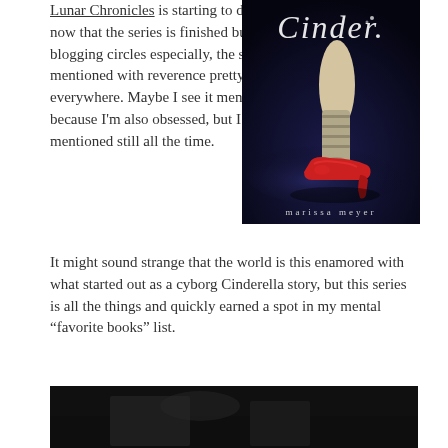Lunar Chronicles is starting to die down a little now that the series is finished but, in the blogging circles especially, the series is still mentioned with reverence pretty much everywhere. Maybe I see it mentioned more because I'm also obsessed, but I really do see it mentioned still all the time.
[Figure (photo): Book cover of 'Cinder' by Marissa Meyer from the Lunar Chronicles series. Shows a mechanical/cyborg leg wearing a red high heel shoe against a dark background. Title 'Cinder' in stylized white text at top, author name 'marissa meyer' at bottom.]
It might sound strange that the world is this enamored with what started out as a cyborg Cinderella story, but this series is all the things and quickly earned a spot in my mental “favorite books” list.
[Figure (photo): Partial image at the bottom of the page, appears dark/shadowed, likely another book cover or promotional image related to the Lunar Chronicles.]